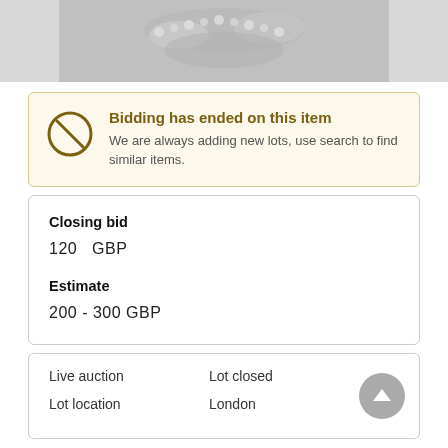[Figure (photo): Partial view of a silver decorative jewelry or ornamental item against a grey background]
Bidding has ended on this item
We are always adding new lots, use search to find similar items.
Closing bid
120   GBP
Estimate
200 - 300 GBP
Live auction   Lot closed
Lot location   London